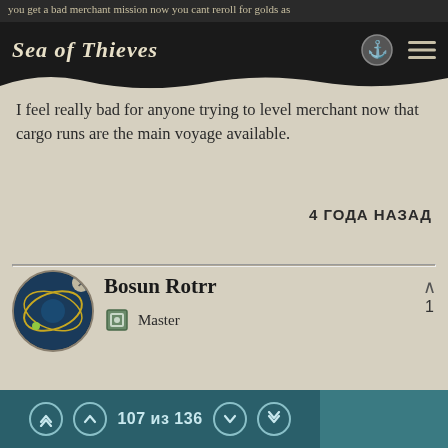you get a bad merchant mission now you cant reroll for golds as | Sea of Thieves
I feel really bad for anyone trying to level merchant now that cargo runs are the main voyage available.
4 ГОДА НАЗАД
Bosun Rotrr — Master
@rcsnipes100 great points there. Both distance and danger involved should adjust price. The further the distance, the more risk to transport.
107 из 136